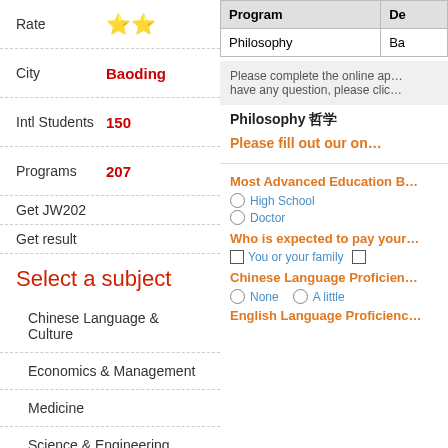Rate ★★
City Baoding
Intl Students 150
Programs 207
Get JW202
Get result
Select a subject
Chinese Language & Culture
Economics & Management
Medicine
Science & Engineering
Law & Philosophy
Education
| Program | De… |
| --- | --- |
| Philosophy | Ba… |
Please complete the online ap… have any question, please clic…
Philosophy 哲学
Please fill out our on…
Most Advanced Education B…
High School
Doctor
Who is expected to pay your…
You or your family
Chinese Language Proficien…
None
A little
English Language Proficienc…